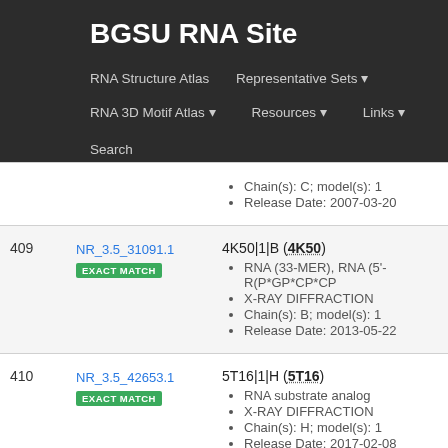BGSU RNA Site
RNA Structure Atlas | Representative Sets | RNA 3D Motif Atlas | Resources | Links | Search
Chain(s): C; model(s): 1
Release Date: 2007-03-20
409 NR_3.5_31091.1 EXACT MATCH
4K50|1|B (4K50)
• RNA (33-MER), RNA (5'-R(P*GP*CP*CP
• X-RAY DIFFRACTION
• Chain(s): B; model(s): 1
• Release Date: 2013-05-22
410 NR_3.5_42653.1 EXACT MATCH
5T16|1|H (5T16)
• RNA substrate analog
• X-RAY DIFFRACTION
• Chain(s): H; model(s): 1
• Release Date: 2017-02-08